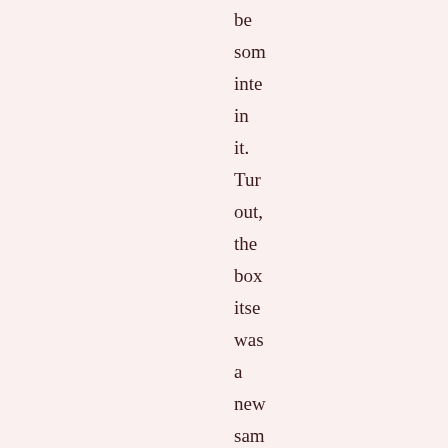be som inte in it. Tur out, the box itse was a new sam fron a ven But tucl insi the bea box